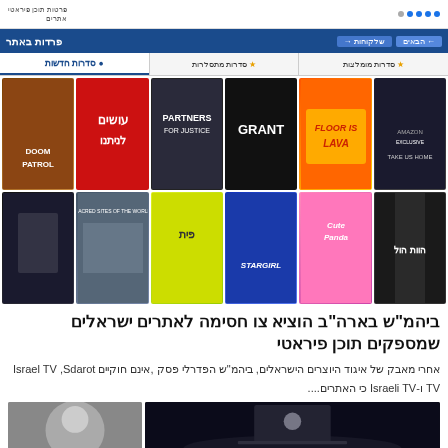פרטות תוכן פיראטי
[Figure (screenshot): Israeli streaming site grid showing TV show thumbnails: Grant, Partners for Justice, Floor is Lava, Doom Patrol, Stargirl, and Hebrew-labeled shows in two rows of 6 thumbnails each]
ביהמ"ש בארה"ב הוציא צו חסימה לאתרים ישראלים שמספקים תוכן פיראטי
אחרי מאבק של איגוד היוצרים הישראלים, ביהמ"ש הפדרלי פסק ,אינם חוקיים Israel TV ,Sdarot TV ו-Israeli TV כי האתרים....